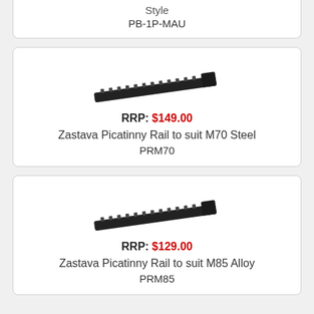Style
PB-1P-MAU
[Figure (photo): Black picatinny rail for Zastava M70, steel, side view]
RRP: $149.00
Zastava Picatinny Rail to suit M70 Steel
PRM70
[Figure (photo): Black picatinny rail for Zastava M85, alloy, side view]
RRP: $129.00
Zastava Picatinny Rail to suit M85 Alloy
PRM85